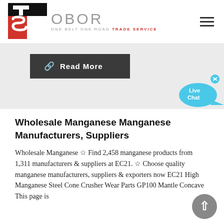[Figure (logo): OBOR Trade Service logo with TS icon in black and red, company name OBOR and tagline ONE BELT ONE ROAD TRADE SERVICE]
[Figure (other): Hamburger menu icon (three horizontal lines)]
[Figure (other): Dark grey Read More button with link icon]
[Figure (other): Live Chat speech bubble icon in blue]
Wholesale Manganese Manganese Manufacturers, Suppliers
Wholesale Manganese ☆ Find 2,458 manganese products from 1,311 manufacturers & suppliers at EC21. ☆ Choose quality manganese manufacturers, suppliers & exporters now EC21 High Manganese Steel Cone Crusher Wear Parts GP100 Mantle Concave This page is